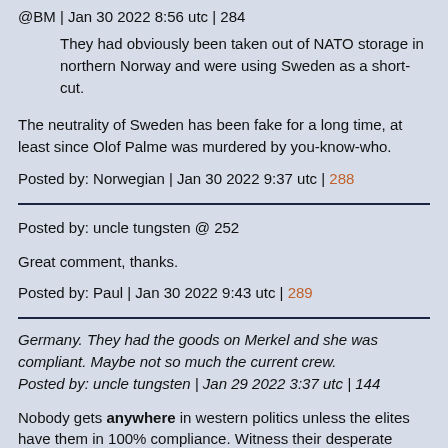@BM | Jan 30 2022 8:56 utc | 284
They had obviously been taken out of NATO storage in northern Norway and were using Sweden as a short-cut.
The neutrality of Sweden has been fake for a long time, at least since Olof Palme was murdered by you-know-who.
Posted by: Norwegian | Jan 30 2022 9:37 utc | 288
Posted by: uncle tungsten @ 252
Great comment, thanks.
Posted by: Paul | Jan 30 2022 9:43 utc | 289
Germany. They had the goods on Merkel and she was compliant. Maybe not so much the current crew.
Posted by: uncle tungsten | Jan 29 2022 3:37 utc | 144
Nobody gets anywhere in western politics unless the elites have them in 100% compliance. Witness their desperate sabotage of Corbyn when by a series of flukes (combined with extreme disenchantment of the Labour Party masses) he suddenly flew to the leadership of the Labour Party. Before that he had been a totally sidelined and hence inconvenient odd member of parliament, raising little attention.